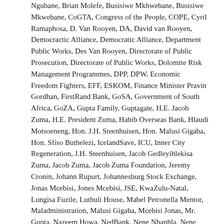Ngubane, Brian Molefe, Busisiwe Mkhwebane, Busisiwe Mkwebane, CoGTA, Congress of the People, COPE, Cyril Ramaphosa, D. Van Rooyen, DA, David van Rooyen, Democractic Alliance, Democratic Alliance, Department Public Works, Des Van Rooyen, Directorate of Public Prosecution, Directorate of Public Works, Dolomite Risk Management Programmes, DPP, DPW, Economic Freedom Fighters, EFF, ESKOM, Finance Minister Pravin Gordhan, FirstRand Bank, GoSA, Government of South Africa, GoZA, Gupta Family, Guptagate, H.E. Jacob Zuma, H.E. President Zuma, Habib Overseas Bank, Hlaudi Motsoeneng, Hon. J.H. Steenhuisen, Hon. Malusi Gigaba, Hon. Sfiso Buthelezi, IcelandSave, ICU, Inner City Regeneration, J.H. Steenhuisen, Jacob Gedleyihlekisa Zuma, Jacob Zuma, Jacob Zuma Foundation, Jeremy Cronin, Johann Rupurt, Johannesburg Stock Exchange, Jonas Mcebisi, Jones Mcebisi, JSE, KwaZulu-Natal, Lungisa Fuzile, Luthuli House, Mabel Petronella Mentor, Maladministration, Malusi Gigaba, Mcebisi Jonas, Mr. Gupta, Nazeem Howa, NedBank, Nene Nhanhla, Nene Nklanhla, Nhanhla Nene, Nkandla, Nkandla Affair,